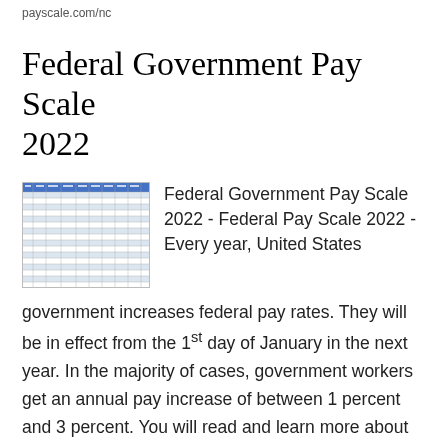payscale.com/nc
Federal Government Pay Scale 2022
[Figure (table-as-image): Thumbnail image of a Federal Government Pay Scale table with multiple columns and rows of salary data]
Federal Government Pay Scale 2022 - Federal Pay Scale 2022 - Every year, United States government increases federal pay rates. They will be in effect from the 1st day of January in the next year. In the majority of cases, government workers get an annual pay increase of between 1 percent and 3 percent. You will read and learn more about the way this system of pay rates is implemented, and also what's the Federal Pay Scale for 2021 and 2022 as detailed below. The image above was